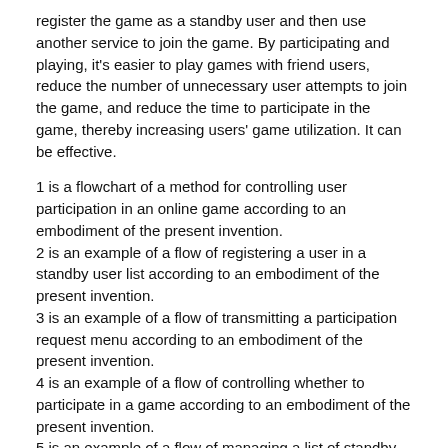register the game as a standby user and then use another service to join the game. By participating and playing, it's easier to play games with friend users, reduce the number of unnecessary user attempts to join the game, and reduce the time to participate in the game, thereby increasing users' game utilization. It can be effective.
1 is a flowchart of a method for controlling user participation in an online game according to an embodiment of the present invention.
2 is an example of a flow of registering a user in a standby user list according to an embodiment of the present invention.
3 is an example of a flow of transmitting a participation request menu according to an embodiment of the present invention.
4 is an example of a flow of controlling whether to participate in a game according to an embodiment of the present invention.
5 is an example of a flow of managing a list of standby users according to an embodiment of the present invention.
6 is a block diagram of a user participation control server